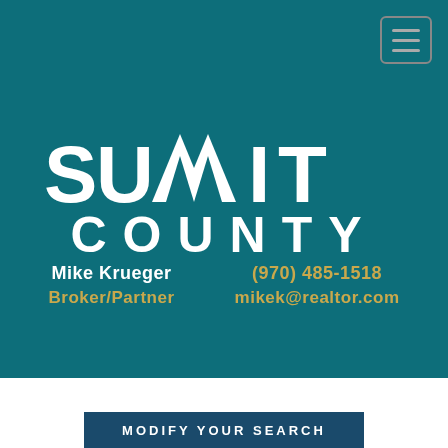[Figure (logo): Real Estate Summit County logo with arced 'REAL ESTATE' text in gold above large white 'SUMMIT COUNTY' text with mountain peaks integrated into the M letters, on a teal background]
Mike Krueger
Broker/Partner
(970) 485-1518
mikek@realtor.com
MODIFY YOUR SEARCH